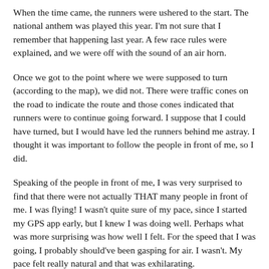When the time came, the runners were ushered to the start. The national anthem was played this year. I'm not sure that I remember that happening last year. A few race rules were explained, and we were off with the sound of an air horn.
Once we got to the point where we were supposed to turn (according to the map), we did not. There were traffic cones on the road to indicate the route and those cones indicated that runners were to continue going forward. I suppose that I could have turned, but I would have led the runners behind me astray. I thought it was important to follow the people in front of me, so I did.
Speaking of the people in front of me, I was very surprised to find that there were not actually THAT many people in front of me. I was flying! I wasn't quite sure of my pace, since I started my GPS app early, but I knew I was doing well. Perhaps what was more surprising was how well I felt. For the speed that I was going, I probably should've been gasping for air. I wasn't. My pace felt really natural and that was exhilarating.
Somewhere after the water station and between miles two and three, there was a bit of course confusion. Runners were following